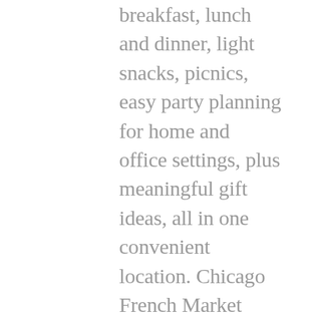breakfast, lunch and dinner, light snacks, picnics, easy party planning for home and office settings, plus meaningful gift ideas, all in one convenient location. Chicago French Market came about with the movement in America to support local farmers and artisans and bring back the European-inspired marketplace — providing you with year-round, permanent access to their local bounty. No other setting would be more perfect for this than the adaptive reuse and transit-oriented development, MetraMarket. The location helps create a compact, walkable community centered around a high-quality rail system. The Bensidoun family, the largest market operator in and around Paris since 1953, created the Chicago French